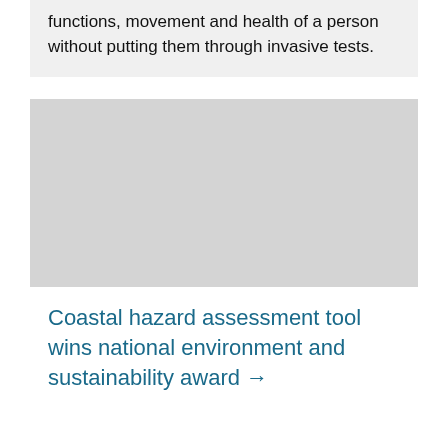functions, movement and health of a person without putting them through invasive tests.
[Figure (photo): A large light gray placeholder image block representing a photo or illustration.]
Coastal hazard assessment tool wins national environment and sustainability award →